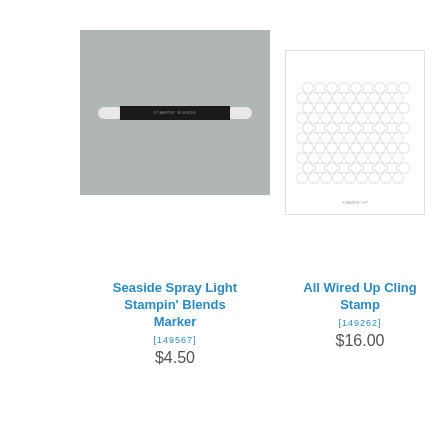[Figure (photo): Seaside Spray Light Stampin Blends Marker on gray background]
[Figure (photo): All Wired Up Cling Stamp showing hexagonal honeycomb pattern on white background]
Seaside Spray Light Stampin' Blends Marker
[149567]
$4.50
All Wired Up Cling Stamp
[149262]
$16.00